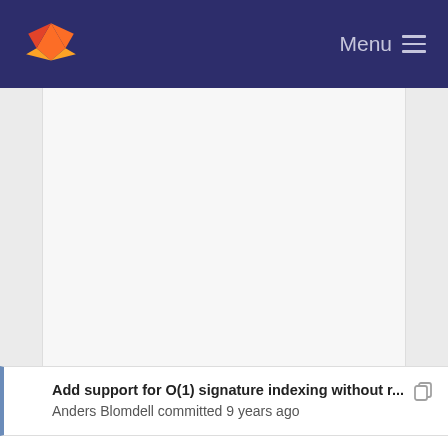Menu
[Figure (screenshot): GitLab logo and navigation bar with dark navy background, Menu button with hamburger icon on right]
Add support for O(1) signature indexing without r...
Anders Blomdell committed 9 years ago
Imported source
Anders Nilsson committed 11 years ago
Changed generated C code to use reader/writer int